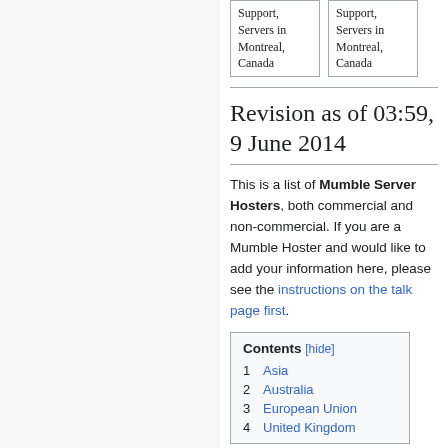| Support, Servers in Montreal, Canada | Support, Servers in Montreal, Canada |
Revision as of 03:59, 9 June 2014
This is a list of Mumble Server Hosters, both commercial and non-commercial. If you are a Mumble Hoster and would like to add your information here, please see the instructions on the talk page first.
| Contents [hide] |
| --- |
| 1 | Asia |
| 2 | Australia |
| 3 | European Union |
| 4 | United Kingdom |